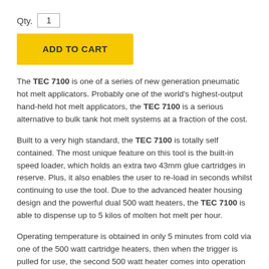Qty. 1
ADD TO CART
The TEC 7100 is one of a series of new generation pneumatic hot melt applicators. Probably one of the world's highest-output hand-held hot melt applicators, the TEC 7100 is a serious alternative to bulk tank hot melt systems at a fraction of the cost.
Built to a very high standard, the TEC 7100 is totally self contained. The most unique feature on this tool is the built-in speed loader, which holds an extra two 43mm glue cartridges in reserve. Plus, it also enables the user to re-load in seconds whilst continuing to use the tool. Due to the advanced heater housing design and the powerful dual 500 watt heaters, the TEC 7100 is able to dispense up to 5 kilos of molten hot melt per hour.
Operating temperature is obtained in only 5 minutes from cold via one of the 500 watt cartridge heaters, then when the trigger is pulled for use, the second 500 watt heater comes into operation and enables the